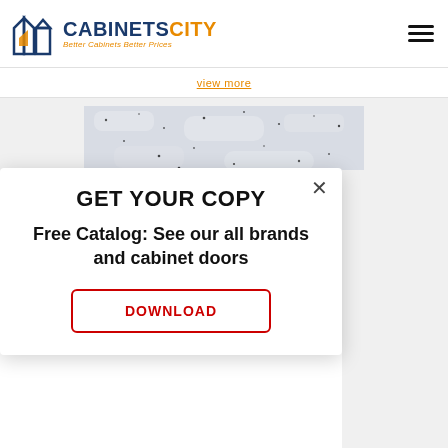[Figure (logo): CabinetsCity logo with building icon and text 'CABINETSCITY Better Cabinets Better Prices']
view more
[Figure (photo): Close-up photo of white/grey granite countertop texture with black speckles]
GET YOUR COPY
Free Catalog: See our all brands and cabinet doors
DOWNLOAD